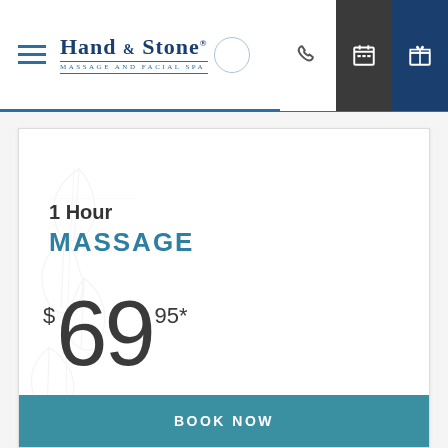[Figure (screenshot): Hand & Stone Massage and Facial Spa website header with logo, hamburger menu, phone icon, calendar icon, and gift icon]
1 Hour
MASSAGE
$69.95*
BOOK NOW